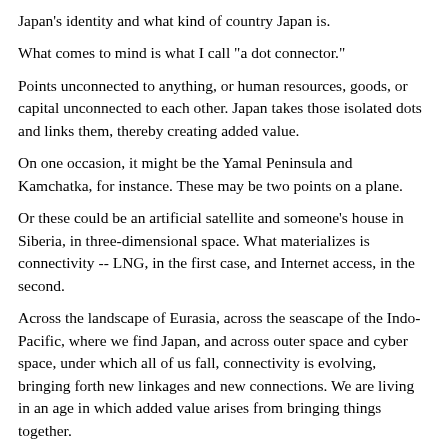Japan's identity and what kind of country Japan is.
What comes to mind is what I call "a dot connector."
Points unconnected to anything, or human resources, goods, or capital unconnected to each other. Japan takes those isolated dots and links them, thereby creating added value.
On one occasion, it might be the Yamal Peninsula and Kamchatka, for instance. These may be two points on a plane.
Or these could be an artificial satellite and someone's house in Siberia, in three-dimensional space. What materializes is connectivity -- LNG, in the first case, and Internet access, in the second.
Across the landscape of Eurasia, across the seascape of the Indo-Pacific, where we find Japan, and across outer space and cyber space, under which all of us fall, connectivity is evolving, bringing forth new linkages and new connections. We are living in an age in which added value arises from bringing things together.
My hope for Japan in the coming years is for us to be a magnificent dot connector. In this role we will foster associations between points that have never come together before and link knowledge with other, heretofore unconnected knowledge, all on